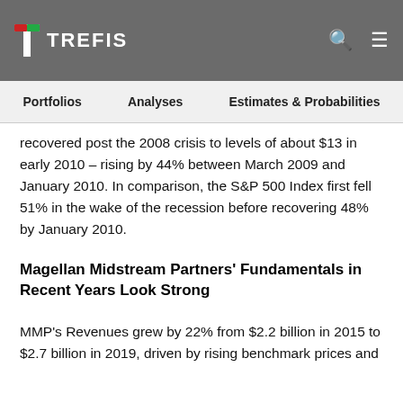TREFIS
recovered post the 2008 crisis to levels of about $13 in early 2010 – rising by 44% between March 2009 and January 2010. In comparison, the S&P 500 Index first fell 51% in the wake of the recession before recovering 48% by January 2010.
Magellan Midstream Partners' Fundamentals in Recent Years Look Strong
MMP's Revenues grew by 22% from $2.2 billion in 2015 to $2.7 billion in 2019, driven by rising benchmark prices and